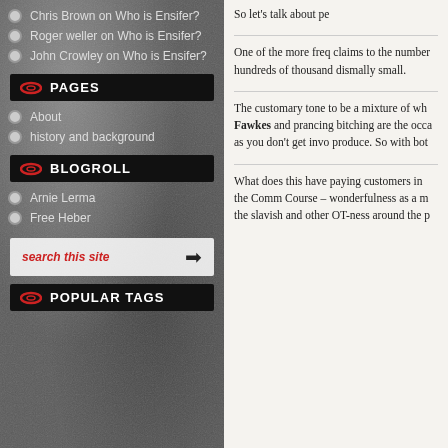Chris Brown on Who is Ensifer?
Roger weller on Who is Ensifer?
John Crowley on Who is Ensifer?
PAGES
About
history and background
BLOGROLL
Arnie Lerma
Free Heber
search this site
POPULAR TAGS
So let’s talk about pe…
One of the more freq… claims to the number… hundreds of thousand… dismally small.
The customary tone … to be a mixture of wh… Fawkes and prancing… bitching are the occa… as you don’t get invo… produce. So with bot…
What does this have … paying customers in … the Comm Course – … wonderfulness as a m… the slavish and other… OT-ness around the p…